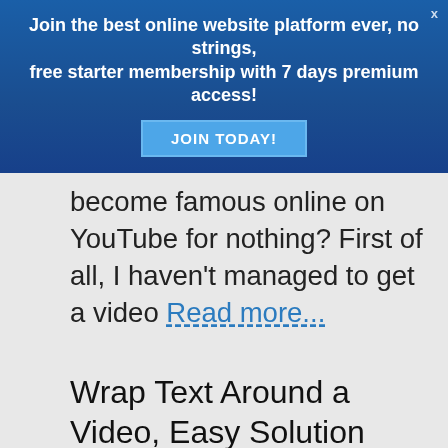[Figure (screenshot): Blue promotional banner with text 'Join the best online website platform ever, no strings, free starter membership with 7 days premium access!' and a 'JOIN TODAY!' button. An X close button is in the top right corner.]
become famous online on YouTube for nothing? First of all, I haven't managed to get a video Read more...
Wrap Text Around a Video, Easy Solution Adding div Code
[Figure (screenshot): YouTube thumbnail image showing 'YouTube' title, 'How to wrap text' subtitle, YouTube logo, and text 'around a video']